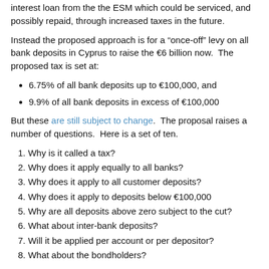interest loan from the the ESM which could be serviced, and possibly repaid, through increased taxes in the future.
Instead the proposed approach is for a “once-off” levy on all bank deposits in Cyprus to raise the €6 billion now.  The proposed tax is set at:
6.75% of all bank deposits up to €100,000, and
9.9% of all bank deposits in excess of €100,000
But these are still subject to change.  The proposal raises a number of questions.  Here is a set of ten.
1. Why is it called a tax?
2. Why does it apply equally to all banks?
3. Why does it apply to all customer deposits?
4. Why does it apply to deposits below €100,000
5. Why are all deposits above zero subject to the cut?
6. What about inter-bank deposits?
7. Will it be applied per account or per depositor?
8. What about the bondholders?